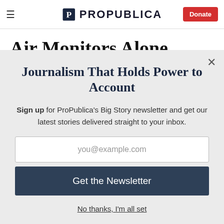ProPublica — Donate
Air Monitors Alone Won't
Journalism That Holds Power to Account
Sign up for ProPublica's Big Story newsletter and get our latest stories delivered straight to your inbox.
you@example.com
Get the Newsletter
No thanks, I'm all set
This site is protected by reCAPTCHA and the Google Privacy Policy and Terms of Service apply.